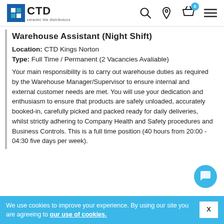CTD ceramic tile distributors [nav with search, location, basket, menu icons]
Warehouse Assistant (Night Shift)
Location: CTD Kings Norton
Type: Full Time / Permanent (2 Vacancies Avaliable)
Your main responsibility is to carry out warehouse duties as required by the Warehouse Manager/Supervisor to ensure internal and external customer needs are met. You will use your dedication and enthusiasm to ensure that products are safely unloaded, accurately booked-in, carefully picked and packed ready for daily deliveries, whilst strictly adhering to Company Health and Safety procedures and Business Controls. This is a full time position (40 hours from 20:00 - 04:30 five days per week).
We use cookies to improve your experience. By using our site you are agreeing to our use of cookies.